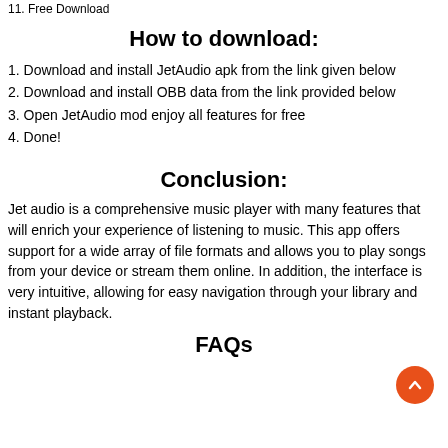11. Free Download
How to download:
Download and install JetAudio apk from the link given below
Download and install OBB data from the link provided below
Open JetAudio mod enjoy all features for free
Done!
Conclusion:
Jet audio is a comprehensive music player with many features that will enrich your experience of listening to music. This app offers support for a wide array of file formats and allows you to play songs from your device or stream them online. In addition, the interface is very intuitive, allowing for easy navigation through your library and instant playback.
FAQs